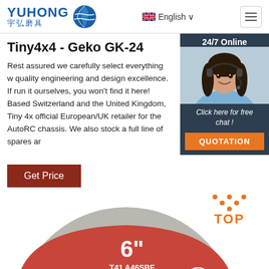YUHONG 宇弘磨具 | English
Tiny4x4 - Geko GK-24
Rest assured we carefully select everything w quality engineering and design excellence. If run it ourselves, you won't find it here! Based Switzerland and the United Kingdom, Tiny 4x official European/UK retailer for the AutoRC chassis. We also stock a full line of spares ar
[Figure (photo): Customer support agent: woman with headset, smiling. 24/7 Online chat widget with 'Click here for free chat!' text and QUOTATION button.]
[Figure (photo): Product image: circular grinding disc, 6 inch, labeled T41 A46SBF 150x1.6x22.2mm, with TOP badge]
Get Price